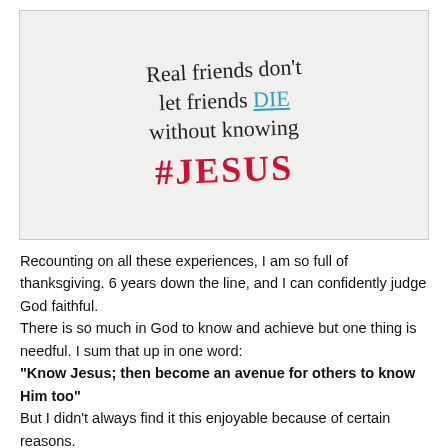[Figure (illustration): Handwritten text on light background reading: 'Real friends don't let friends DIE without knowing #JESUS' — with 'DIE' in blue with underline and '#JESUS' in red bold cursive]
Recounting on all these experiences, I am so full of thanksgiving. 6 years down the line, and I can confidently judge God faithful.
There is so much in God to know and achieve but one thing is needful. I sum that up in one word:
"Know Jesus; then become an avenue for others to know Him too"
But I didn't always find it this enjoyable because of certain reasons.